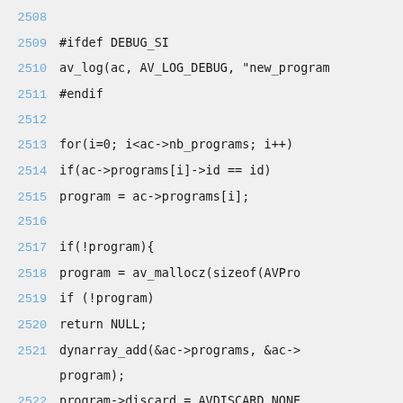2508
2509 #ifdef DEBUG_SI
2510     av_log(ac, AV_LOG_DEBUG, "new_program
2511 #endif
2512
2513     for(i=0; i<ac->nb_programs; i++)
2514         if(ac->programs[i]->id == id)
2515             program = ac->programs[i];
2516
2517     if(!program){
2518         program = av_mallocz(sizeof(AVPro
2519         if (!program)
2520             return NULL;
2521         dynarray_add(&ac->programs, &ac-> program);
2522         program->discard = AVDISCARD_NONE